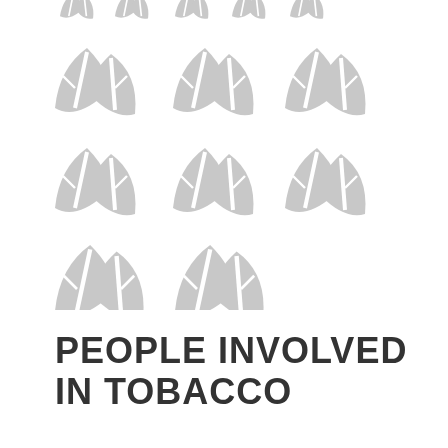[Figure (illustration): Grid of leaf/tobacco plant icons arranged in rows: top row has 5 pairs of leaves, second row has 3 pairs of larger leaves, third row has 3 pairs of larger leaves, bottom row has 2 pairs of largest leaves. All icons are light gray.]
PEOPLE INVOLVED IN TOBACCO